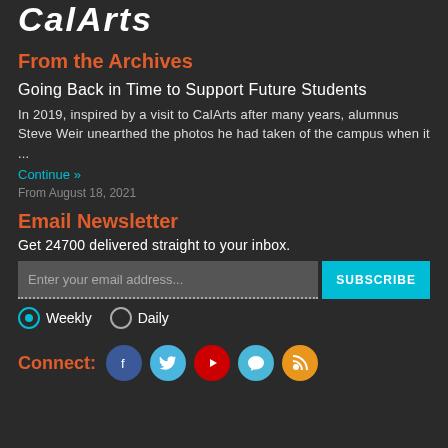CalArts
From the Archives
Going Back in Time to Support Future Students
In 2019, inspired by a visit to CalArts after many years, alumnus Steve Weir unearthed the photos he had taken of the campus when it ...
Continue »
From August 18, 2021
Email Newsletter
Get 24700 delivered straight to your inbox.
Enter your email address... SUBSCRIBE
Weekly  Daily
Connect: